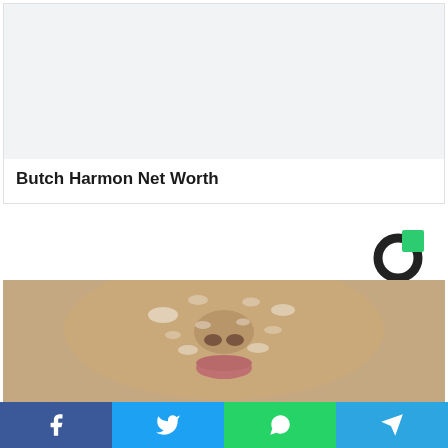[Figure (photo): Light grey placeholder image at top of card]
Butch Harmon Net Worth
[Figure (logo): Celeb Cribs or similar site logo — dark circle with green square accent]
[Figure (photo): Close-up photo of a person's face covered in white flaky/dry skin or salt scrub]
Facebook Twitter WhatsApp Telegram social share bar